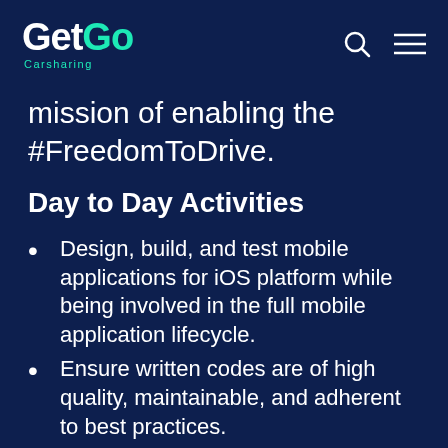GetGo Carsharing — navigation header with search and menu icons
mission of enabling the #FreedomToDrive.
Day to Day Activities
Design, build, and test mobile applications for iOS platform while being involved in the full mobile application lifecycle.
Ensure written codes are of high quality, maintainable, and adherent to best practices.